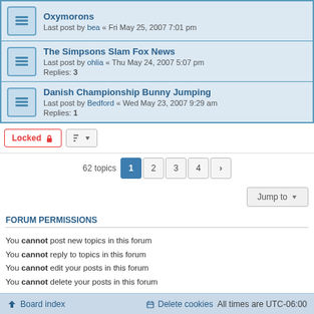Oxymorons — Last post by bea « Fri May 25, 2007 7:01 pm
The Simpsons Slam Fox News — Last post by ohlia « Thu May 24, 2007 5:07 pm — Replies: 3
Danish Championship Bunny Jumping — Last post by Bedford « Wed May 23, 2007 9:29 am — Replies: 1
Locked | Sort controls
62 topics — pages: 1 2 3 4 >
Jump to
FORUM PERMISSIONS
You cannot post new topics in this forum
You cannot reply to topics in this forum
You cannot edit your posts in this forum
You cannot delete your posts in this forum
Board index | Delete cookies | All times are UTC-06:00
Powered by phpBB® Forum Software © phpBB Limited
Privacy | Terms